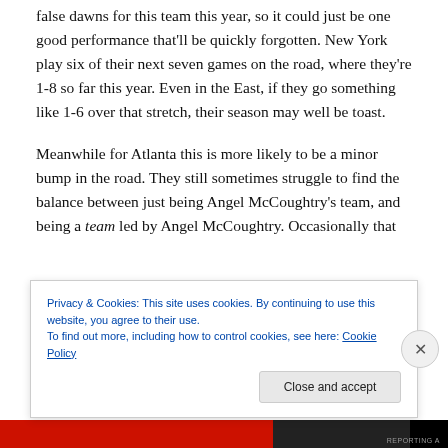false dawns for this team this year, so it could just be one good performance that'll be quickly forgotten. New York play six of their next seven games on the road, where they're 1-8 so far this year. Even in the East, if they go something like 1-6 over that stretch, their season may well be toast.
Meanwhile for Atlanta this is more likely to be a minor bump in the road. They still sometimes struggle to find the balance between just being Angel McCoughtry's team, and being a team led by Angel McCoughtry. Occasionally that
Privacy & Cookies: This site uses cookies. By continuing to use this website, you agree to their use.
To find out more, including how to control cookies, see here: Cookie Policy